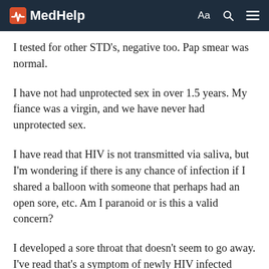MedHelp
I tested for other STD's, negative too. Pap smear was normal.
I have not had unprotected sex in over 1.5 years. My fiance was a virgin, and we have never had unprotected sex.
I have read that HIV is not transmitted via saliva, but I'm wondering if there is any chance of infection if I shared a balloon with someone that perhaps had an open sore, etc. Am I paranoid or is this a valid concern?
I developed a sore throat that doesn't seem to go away. I've read that's a symptom of newly HIV infected persons.